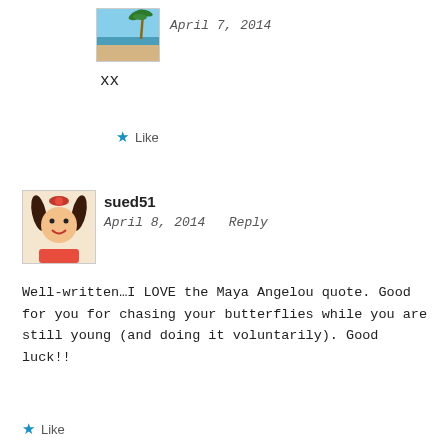[Figure (photo): Small beach scene avatar photo with palm tree, blue sky, sand and water]
April 7, 2014
xx
★ Like
[Figure (illustration): Cartoon girl avatar with pigtails and red bow]
sued51
April 8, 2014   Reply
Well-written…I LOVE the Maya Angelou quote. Good for you for chasing your butterflies while you are still young (and doing it voluntarily). Good luck!!
★ Like